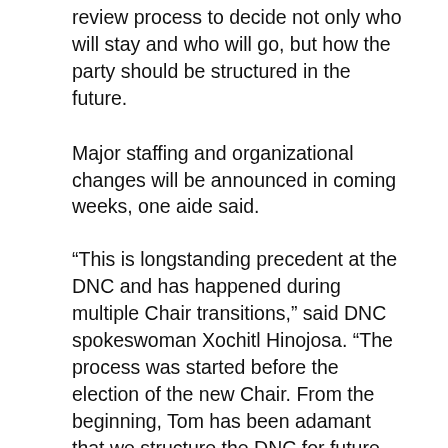review process to decide not only who will stay and who will go, but how the party should be structured in the future.
Major staffing and organizational changes will be announced in coming weeks, one aide said.
“This is longstanding precedent at the DNC and has happened during multiple Chair transitions,” said DNC spokeswoman Xochitl Hinojosa. “The process was started before the election of the new Chair. From the beginning, Tom has been adamant that we structure the DNC for future campaigns. Current and future DNC staff will be integral to that effort. Over the last few months, the DNC staff has done incredible work under immense pressure to hold Trump accountable.”
Perez is the party’s third leader in the past year, which